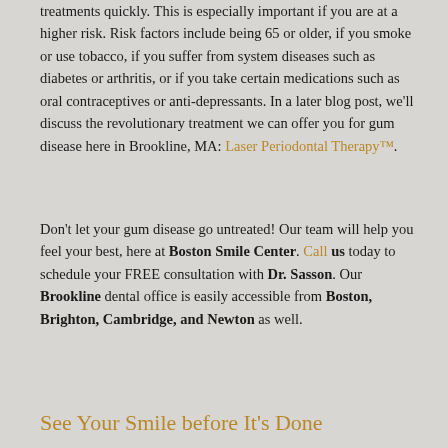treatments quickly. This is especially important if you are at a higher risk. Risk factors include being 65 or older, if you smoke or use tobacco, if you suffer from system diseases such as diabetes or arthritis, or if you take certain medications such as oral contraceptives or anti-depressants. In a later blog post, we'll discuss the revolutionary treatment we can offer you for gum disease here in Brookline, MA: Laser Periodontal Therapy™.
Don't let your gum disease go untreated! Our team will help you feel your best, here at Boston Smile Center. Call us today to schedule your FREE consultation with Dr. Sasson. Our Brookline dental office is easily accessible from Boston, Brighton, Cambridge, and Newton as well.
See Your Smile before It's Done